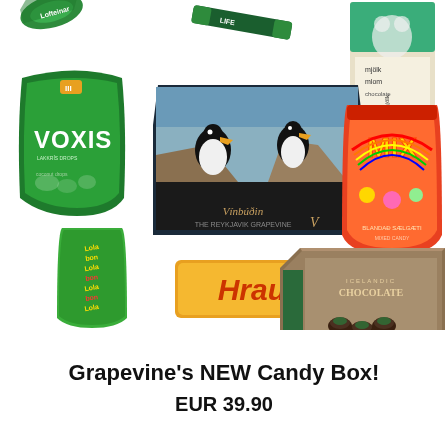[Figure (photo): Collage of Icelandic candy products: two green items at top, a Voxis green bag of candy, a decorative puffin box in the center, a MIX candy bag on right, a small green Lola candy bag bottom left, a Hraun chocolate bar, an Icelandic Chocolate box, and a book/card top right.]
Grapevine's NEW Candy Box!
EUR 39.90